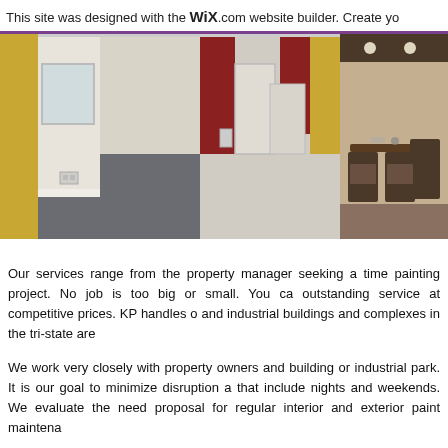This site was designed with the WiX.com website builder. Create yo
[Figure (photo): Interior hallway of an office space with white walls, dark red accent panels, yellow accent walls, and grey carpeted floors. Multiple doorways visible.]
[Figure (photo): Interior of a restaurant or dining area with dark wood furniture, chairs, and recessed lighting. Partially visible, cropped on right.]
Our services range from the property manager seeking a time painting project. No job is too big or small. You ca outstanding service at competitive prices. KP handles o and industrial buildings and complexes in the tri-state are
We work very closely with property owners and building or industrial park. It is our goal to minimize disruption a that include nights and weekends. We evaluate the need proposal for regular interior and exterior paint maintena